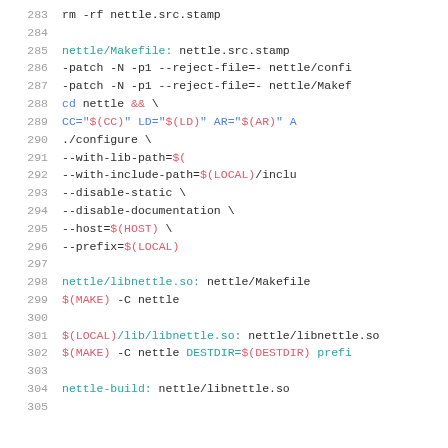[Figure (screenshot): Source code listing of a Makefile showing lines 283-304, with syntax highlighting. Line numbers in gray, make targets in teal/blue, make variables like $(MAKE), $(CC), $(LOCAL), $(HOST) in pink/red, and regular text in dark gray. Content includes nettle build rules with configure flags.]